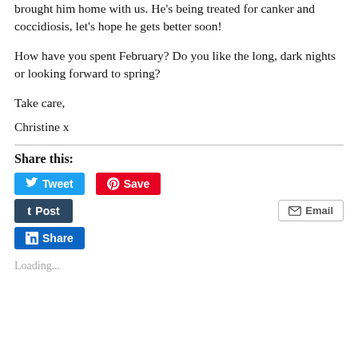brought him home with us. He's being treated for canker and coccidiosis, let's hope he gets better soon!
How have you spent February? Do you like the long, dark nights or looking forward to spring?
Take care,
Christine x
Share this:
[Figure (screenshot): Social share buttons: Tweet (blue Twitter), Save (red Pinterest), Post (dark Tumblr), Email (white with border), Share (blue LinkedIn)]
Loading...